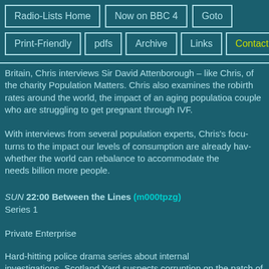Radio-Lists Home | Now on BBC 4 | Goto
Print-Friendly | pdfs | Archive | Links | Contact
Britain, Chris interviews Sir David Attenborough – like Chris, of the charity Population Matters. Chris also examines the role birth rates around the world, the impact of an aging population, a couple who are struggling to get pregnant through IVF.

With interviews from several population experts, Chris's focus turns to the impact our levels of consumption are already having, whether the world can rebalance to accommodate the needs of a billion more people.
SUN 22:00 Between the Lines (m000tpzg) Series 1
Private Enterprise
Hard-hitting police drama series about internal investigations. Scotland Yard suspects corruption on the patch of DCI Tony ambitious detective finds himself assigned the unenviable ta